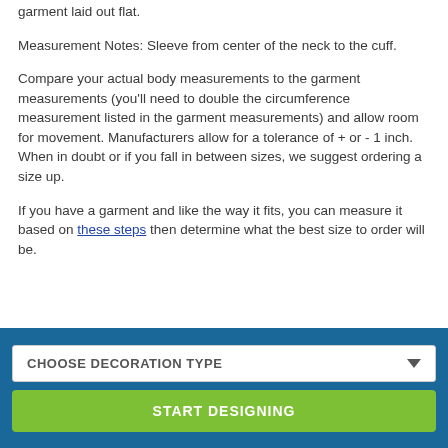garment laid out flat.
Measurement Notes: Sleeve from center of the neck to the cuff.
Compare your actual body measurements to the garment measurements (you'll need to double the circumference measurement listed in the garment measurements) and allow room for movement. Manufacturers allow for a tolerance of + or - 1 inch. When in doubt or if you fall in between sizes, we suggest ordering a size up.
If you have a garment and like the way it fits, you can measure it based on these steps then determine what the best size to order will be.
CHOOSE DECORATION TYPE
START DESIGNING